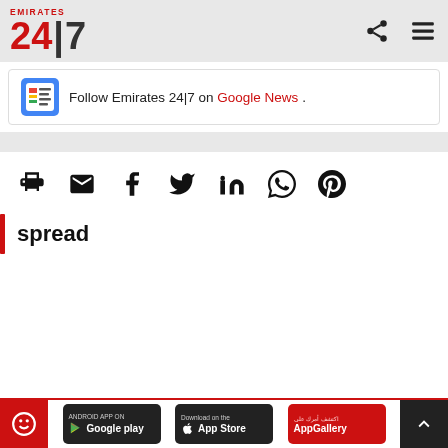Emirates 24|7 — header with share and menu icons
Follow Emirates 24|7 on Google News .
[Figure (infographic): Social share icons row: print, email, facebook, twitter, linkedin, whatsapp, pinterest]
spread
App download badges: Android App on Google Play, Download on the App Store, AppGallery